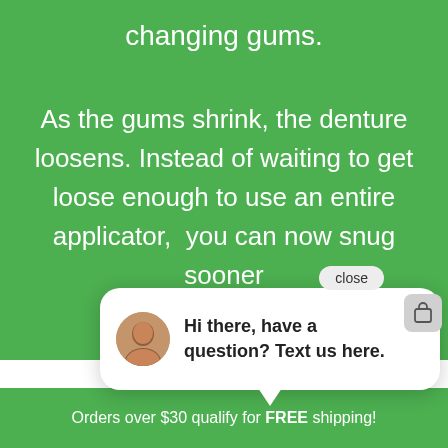changing gums.
As the gums shrink, the denture loosens. Instead of waiting to get loose enough to use an entire applicator,  you can now snug sooner
[Figure (screenshot): Chat widget popup with avatar photo of a woman and text: Hi there, have a question? Text us here. With a close button and a purple chat launcher icon.]
Orders over $30 qualify for FREE shipping!